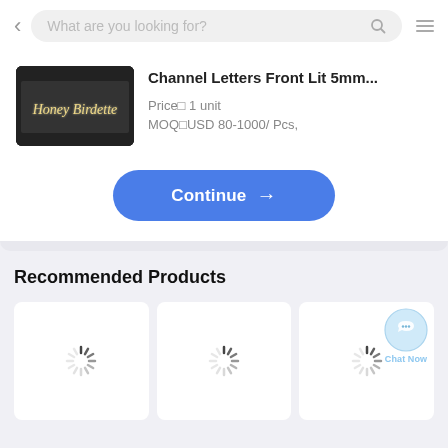What are you looking for?
[Figure (screenshot): Product listing image showing illuminated channel letters sign reading 'Honey Birdette']
Channel Letters Front Lit 5mm...
Price⊡ 1 unit
MOQ⊡USD 80-1000/ Pcs,
Continue →
Recommended Products
[Figure (screenshot): Loading spinner placeholder for recommended product 1]
[Figure (screenshot): Loading spinner placeholder for recommended product 2]
[Figure (screenshot): Loading spinner placeholder for recommended product 3]